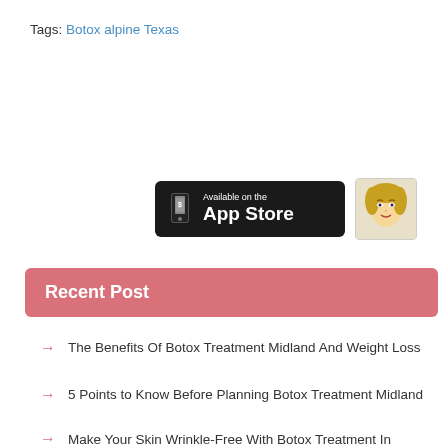Tags: Botox alpine Texas
[Figure (screenshot): App Store download button (black rounded rectangle) and a beauty/salon icon image side by side]
Recent Post
The Benefits Of Botox Treatment Midland And Weight Loss
5 Points to Know Before Planning Botox Treatment Midland
Make Your Skin Wrinkle-Free With Botox Treatment In Midland
PRF Hair Treatment in Alpine – What to Expect?